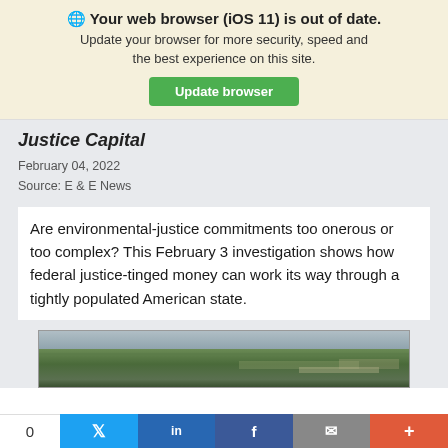🌐 Your web browser (iOS 11) is out of date. Update your browser for more security, speed and the best experience on this site. Update browser
Justice Capital
February 04, 2022
Source: E & E News
Are environmental-justice commitments too onerous or too complex? This February 3 investigation shows how federal justice-tinged money can work its way through a tightly populated American state.
[Figure (photo): Aerial photograph of a rural/forested landscape, likely showing a solar farm or land use area in an American state.]